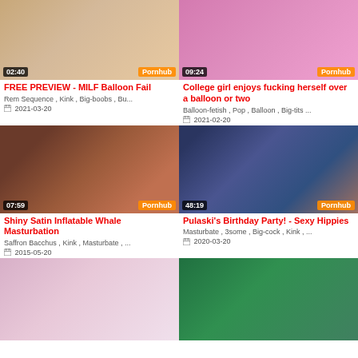[Figure (screenshot): Video thumbnail for FREE PREVIEW - MILF Balloon Fail, duration 02:40, Pornhub branding]
FREE PREVIEW - MILF Balloon Fail
Rem Sequence , Kink , Big-boobs , Bu...
2021-03-20
[Figure (screenshot): Video thumbnail for College girl enjoys fucking herself over a balloon or two, duration 09:24, Pornhub branding]
College girl enjoys fucking herself over a balloon or two
Balloon-fetish , Pop , Balloon , Big-tits ...
2021-02-20
[Figure (screenshot): Video thumbnail for Shiny Satin Inflatable Whale Masturbation, duration 07:59, Pornhub branding]
Shiny Satin Inflatable Whale Masturbation
Saffron Bacchus , Kink , Masturbate , ...
2015-05-20
[Figure (screenshot): Video thumbnail for Pulaski's Birthday Party! - Sexy Hippies, duration 48:19, Pornhub branding]
Pulaski's Birthday Party! - Sexy Hippies
Masturbate , 3some , Big-cock , Kink , ...
2020-03-20
[Figure (screenshot): Video thumbnail partial, bottom row left]
[Figure (screenshot): Video thumbnail partial, bottom row right]